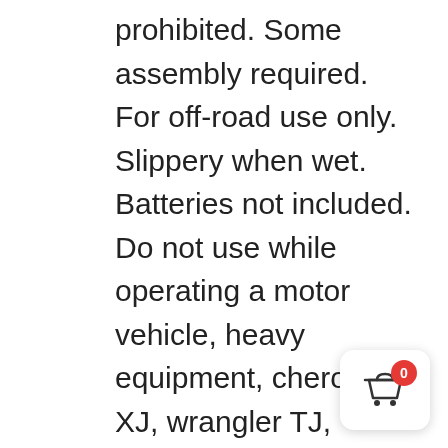prohibited. Some assembly required. For off-road use only. Slippery when wet. Batteries not included. Do not use while operating a motor vehicle, heavy equipment, cherokee XJ, wrangler TJ, wrangler JK, or any Jeep vehicle, especially the newer Fiat ones. How-to videos may be too intense for some viewers and children under 30 years of age. Please remain seated until the 4×4 ride has come to a complete stop. Studies have shown viewing these videos causes increased cancer risks in laboratory test people. I am not a professional, I have no training. I'm not even particularly good at horse
[Figure (other): Shopping cart widget with red badge showing '0' count, displayed in bottom-right corner]